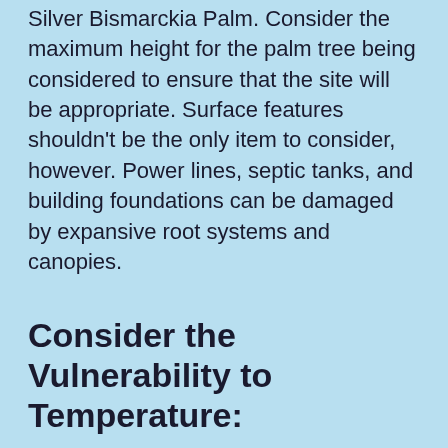Silver Bismarckia Palm. Consider the maximum height for the palm tree being considered to ensure that the site will be appropriate. Surface features shouldn't be the only item to consider, however. Power lines, septic tanks, and building foundations can be damaged by expansive root systems and canopies.
Consider the Vulnerability to Temperature:
Palms typically don't react well to freezing temperatures. Exposure to frost and freezing weather will weaken trees and potentially damage them. When palms are vulnerable to cold, planting them with protection from Norther in close beside bodies of water off...